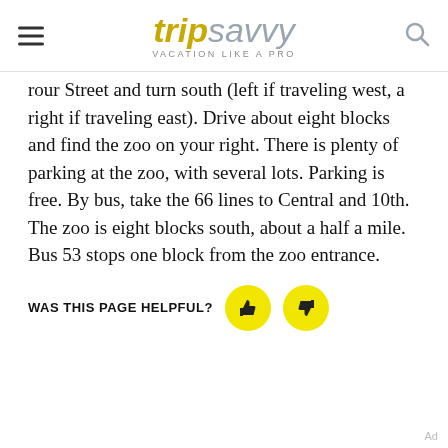tripsavvy VACATION LIKE A PRO
rour Street and turn south (left if traveling west, a right if traveling east). Drive about eight blocks and find the zoo on your right. There is plenty of parking at the zoo, with several lots. Parking is free. By bus, take the 66 lines to Central and 10th. The zoo is eight blocks south, about a half a mile. Bus 53 stops one block from the zoo entrance.
WAS THIS PAGE HELPFUL?